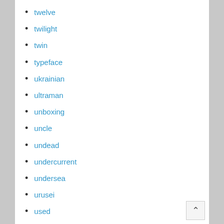twelve
twilight
twin
typeface
ukrainian
ultraman
unboxing
uncle
undead
undercurrent
undersea
urusei
used
vadis
valley
vampires
vanishing